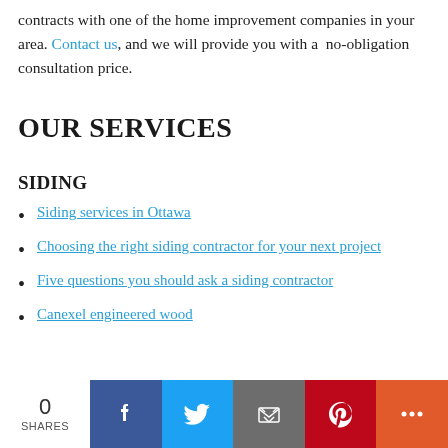contracts with one of the home improvement companies in your area. Contact us, and we will provide you with a no-obligation consultation price.
OUR SERVICES
SIDING
Siding services in Ottawa
Choosing the right siding contractor for your next project
Five questions you should ask a siding contractor
Canexel engineered wood
0 SHARES | Facebook | Twitter | Email | Pinterest | More